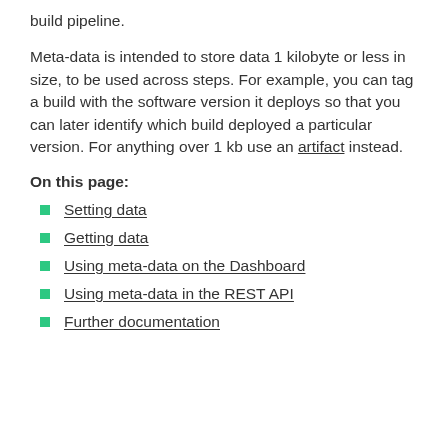build pipeline.
Meta-data is intended to store data 1 kilobyte or less in size, to be used across steps. For example, you can tag a build with the software version it deploys so that you can later identify which build deployed a particular version. For anything over 1 kb use an artifact instead.
On this page:
Setting data
Getting data
Using meta-data on the Dashboard
Using meta-data in the REST API
Further documentation